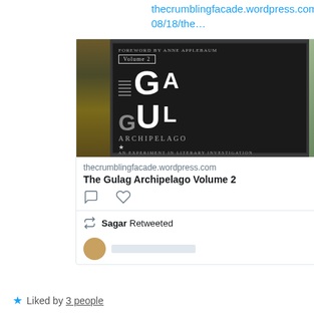thecrumblingfacade.wordpress.com/2022/08/18/the…
[Figure (photo): Book cover of The Gulag Archipelago Volume 2 by Aleksandr Solzhenitsyn, dark cover with large stylized letters G, U, L, A, G arranged vertically, subtitle 'An Experiment in Literary Investigation']
thecrumblingfacade.wordpress.com
The Gulag Archipelago Volume 2
Sagar Retweeted
Liked by 3 people